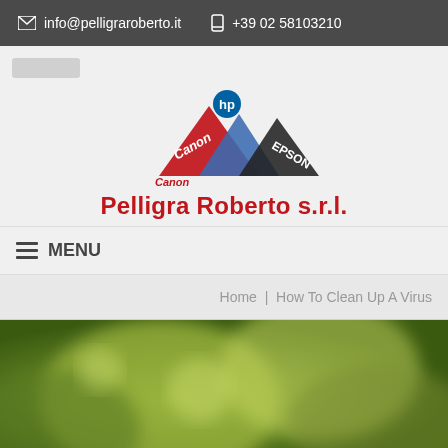info@pelligraroberto.it  +39 02 58103210
[Figure (logo): Pelligra Roberto s.r.l. company logo with Canon, HP, and Epson brand marks styled as mountain peaks]
Pelligra Roberto s.r.l.
≡ MENU
Home  |  How To Clean Up A Virus
[Figure (photo): Blurred green bokeh background photo]